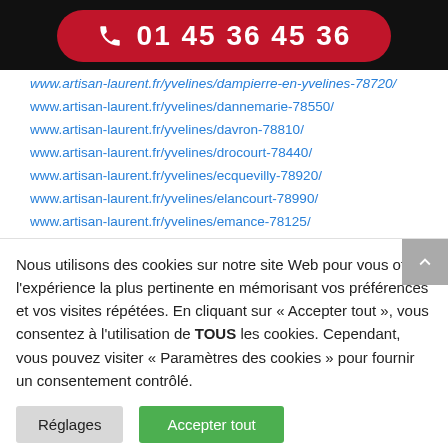[Figure (other): Red rounded button with phone icon and phone number 01 45 36 45 36 on dark background]
www.artisan-laurent.fr/yvelines/dampierre-en-yvelines-78720/
www.artisan-laurent.fr/yvelines/dannemarie-78550/
www.artisan-laurent.fr/yvelines/davron-78810/
www.artisan-laurent.fr/yvelines/drocourt-78440/
www.artisan-laurent.fr/yvelines/ecquevilly-78920/
www.artisan-laurent.fr/yvelines/elancourt-78990/
www.artisan-laurent.fr/yvelines/emance-78125/
Nous utilisons des cookies sur notre site Web pour vous offrir l'expérience la plus pertinente en mémorisant vos préférences et vos visites répétées. En cliquant sur « Accepter tout », vous consentez à l'utilisation de TOUS les cookies. Cependant, vous pouvez visiter « Paramètres des cookies » pour fournir un consentement contrôlé.
Réglages
Accepter tout